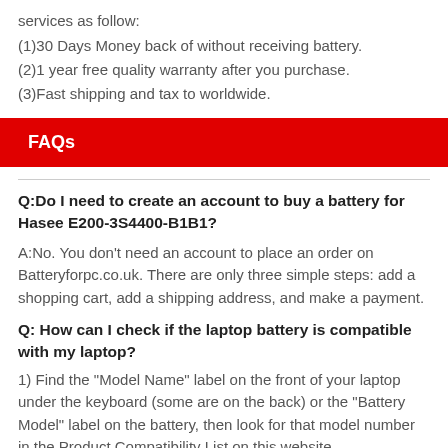services as follow:
(1)30 Days Money back of without receiving battery.
(2)1 year free quality warranty after you purchase.
(3)Fast shipping and tax to worldwide.
FAQs
Q:Do I need to create an account to buy a battery for Hasee E200-3S4400-B1B1?
A:No. You don't need an account to place an order on Batteryforpc.co.uk. There are only three simple steps: add a shopping cart, add a shipping address, and make a payment.
Q: How can I check if the laptop battery is compatible with my laptop?
1) Find the "Model Name" label on the front of your laptop under the keyboard (some are on the back) or the "Battery Model" label on the battery, then look for that model number in the Product Compatibility List on this website.